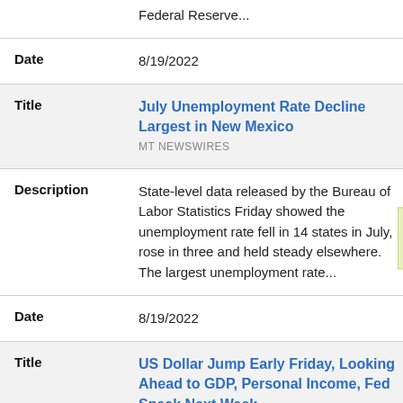Federal Reserve...
Date: 8/19/2022
July Unemployment Rate Decline Largest in New Mexico
MT NEWSWIRES
Description: State-level data released by the Bureau of Labor Statistics Friday showed the unemployment rate fell in 14 states in July, rose in three and held steady elsewhere. The largest unemployment rate...
Date: 8/19/2022
US Dollar Jump Early Friday, Looking Ahead to GDP, Personal Income, Fed Speak Next Week